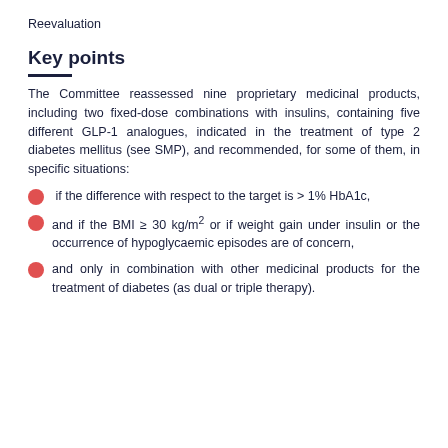Reevaluation
Key points
The Committee reassessed nine proprietary medicinal products, including two fixed-dose combinations with insulins, containing five different GLP-1 analogues, indicated in the treatment of type 2 diabetes mellitus (see SMP), and recommended, for some of them, in specific situations:
if the difference with respect to the target is > 1% HbA1c,
and if the BMI ≥ 30 kg/m² or if weight gain under insulin or the occurrence of hypoglycaemic episodes are of concern,
and only in combination with other medicinal products for the treatment of diabetes (as dual or triple therapy).